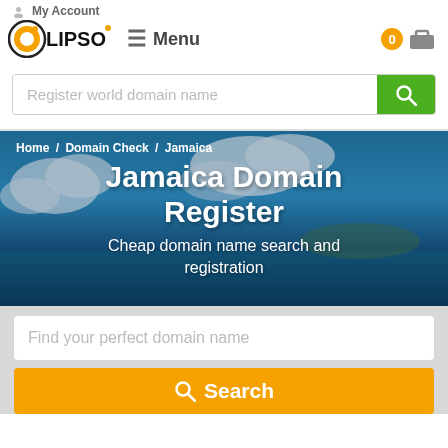My Account
[Figure (logo): Olipso logo — circular orange icon with O and 'LIPSO' text]
Menu
Register world domain name
Home / Domain Check / Jamaica
Jamaica Domain Register
Cheap domain name search and registration
Find your perfect domain name
Search